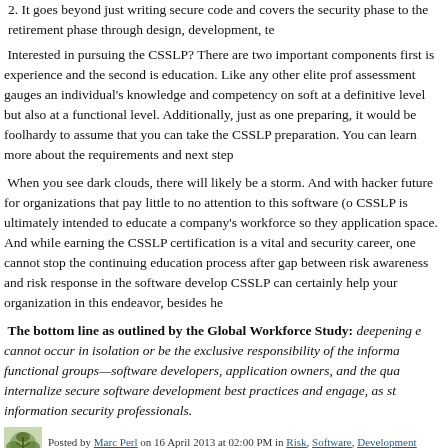2. It goes beyond just writing secure code and covers the security phase to the retirement phase through design, development, te
Interested in pursuing the CSSLP? There are two important components first is experience and the second is education. Like any other elite prof assessment gauges an individual's knowledge and competency on soft at a definitive level but also at a functional level. Additionally, just as one preparing, it would be foolhardy to assume that you can take the CSSLP preparation. You can learn more about the requirements and next step
When you see dark clouds, there will likely be a storm. And with hackers future for organizations that pay little to no attention to this software (o CSSLP is ultimately intended to educate a company's workforce so they application space. And while earning the CSSLP certification is a vital and security career, one cannot stop the continuing education process after gap between risk awareness and risk response in the software develop CSSLP can certainly help your organization in this endeavor, besides he
The bottom line as outlined by the Global Workforce Study: deepening e cannot occur in isolation or be the exclusive responsibility of the informa functional groups—software developers, application owners, and the qua internalize secure software development best practices and engage, as st information security professionals.
[Figure (logo): Small decorative logo/icon with leaf/branch pattern]
Posted by Marc Perl on 16 April 2013 at 02:00 PM in Risk, Software, Development